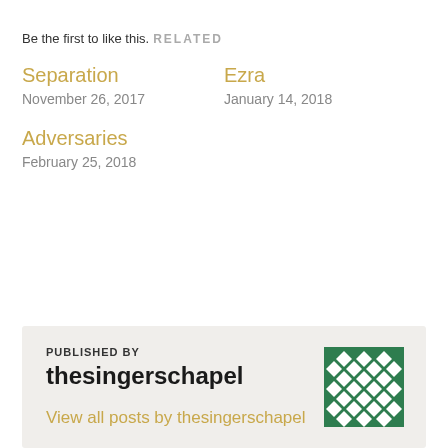Be the first to like this.
RELATED
Separation
November 26, 2017
Ezra
January 14, 2018
Adversaries
February 25, 2018
PUBLISHED BY
thesingerschapel
View all posts by thesingerschapel